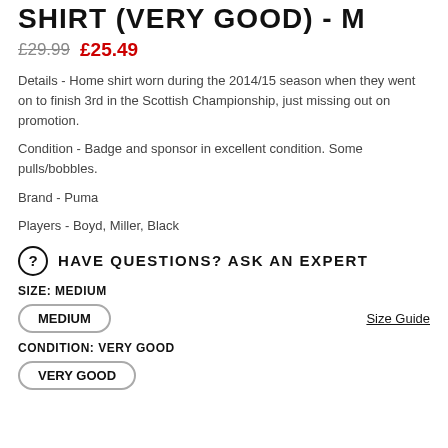SHIRT (VERY GOOD) - M
£29.99  £25.49
Details - Home shirt worn during the 2014/15 season when they went on to finish 3rd in the Scottish Championship, just missing out on promotion.
Condition - Badge and sponsor in excellent condition. Some pulls/bobbles.
Brand - Puma
Players - Boyd, Miller, Black
HAVE QUESTIONS? ASK AN EXPERT
SIZE: MEDIUM
MEDIUM
Size Guide
CONDITION: VERY GOOD
VERY GOOD